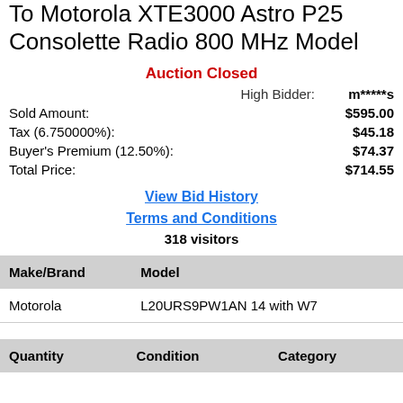To Motorola XTE3000 Astro P25 Consolette Radio 800 MHz Model
Auction Closed
High Bidder: m*****s
Sold Amount: $595.00
Tax (6.750000%): $45.18
Buyer's Premium (12.50%): $74.37
Total Price: $714.55
View Bid History
Terms and Conditions
318 visitors
| Make/Brand | Model |
| --- | --- |
| Motorola | L20URS9PW1AN 14 with W7 |
| Quantity | Condition | Category |
| --- | --- | --- |